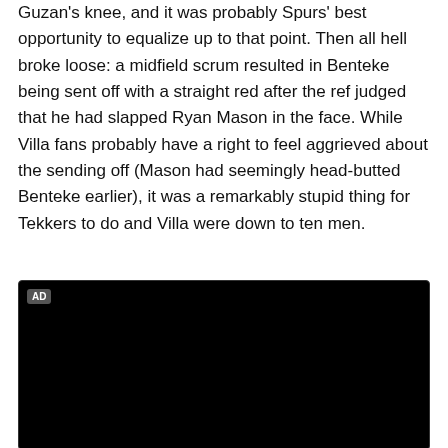Guzan's knee, and it was probably Spurs' best opportunity to equalize up to that point. Then all hell broke loose: a midfield scrum resulted in Benteke being sent off with a straight red after the ref judged that he had slapped Ryan Mason in the face. While Villa fans probably have a right to feel aggrieved about the sending off (Mason had seemingly head-butted Benteke earlier), it was a remarkably stupid thing for Tekkers to do and Villa were down to ten men.
[Figure (other): Black video player advertisement box with 'AD' label in top-left corner]